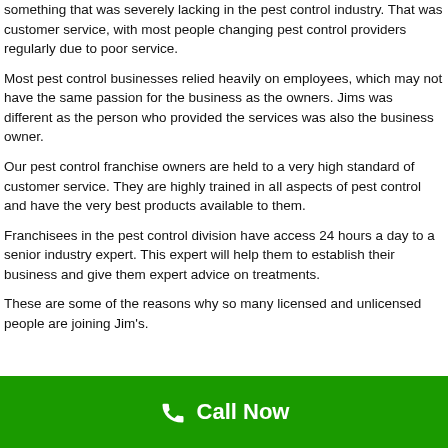something that was severely lacking in the pest control industry. That was customer service, with most people changing pest control providers regularly due to poor service.
Most pest control businesses relied heavily on employees, which may not have the same passion for the business as the owners. Jims was different as the person who provided the services was also the business owner.
Our pest control franchise owners are held to a very high standard of customer service. They are highly trained in all aspects of pest control and have the very best products available to them.
Franchisees in the pest control division have access 24 hours a day to a senior industry expert. This expert will help them to establish their business and give them expert advice on treatments.
These are some of the reasons why so many licensed and unlicensed people are joining Jim's.
Call Now